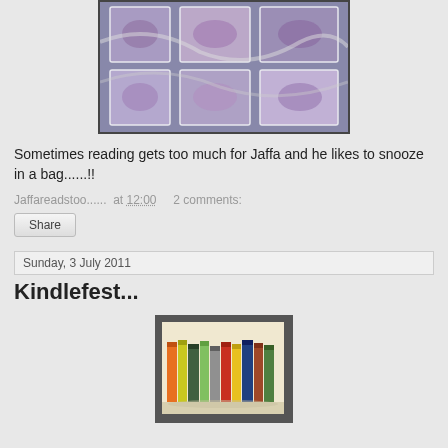[Figure (photo): Close-up photo of a fabric/quilt bag with colorful embroidered or printed pattern in blues, purples, and pinks.]
Sometimes reading gets too much for Jaffa and he likes to snooze in a bag......!!
Jaffareadstoo...... at 12:00   2 comments:
Share
Sunday, 3 July 2011
Kindlefest...
[Figure (photo): Photo of a row of colorful books standing upright, with spines of various colors including orange, yellow, green, red, and others.]